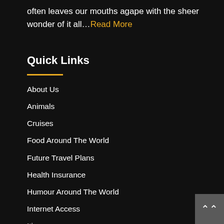often leaves our mouths agape with the sheer wonder of it all…Read More
Quick Links
About Us
Animals
Cruises
Food Around The World
Future Travel Plans
Health Insurance
Humour Around The World
Internet Access
Itinerary
Local Points Of Interest
Medical Issues
Our Stuff